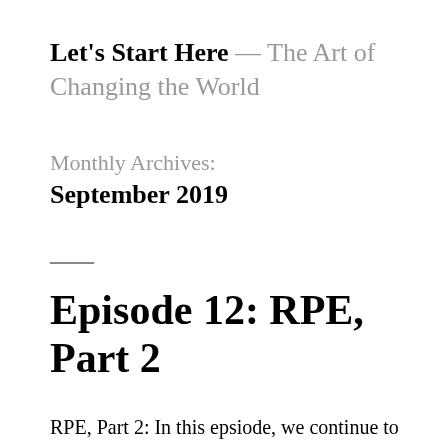Let's Start Here — The Art of Changing the World
Monthly Archives: September 2019
RPE, Part 2: In this epsiode, we continue to explore RPE. We discuss RPE for stretching